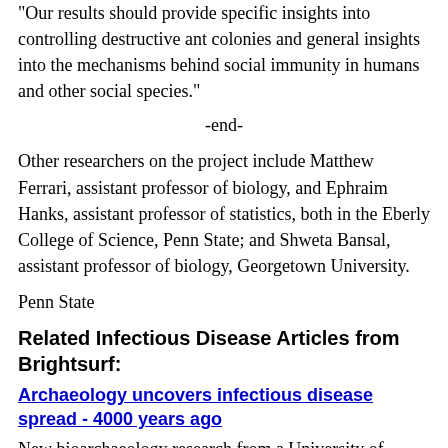"Our results should provide specific insights into controlling destructive ant colonies and general insights into the mechanisms behind social immunity in humans and other social species."
-end-
Other researchers on the project include Matthew Ferrari, assistant professor of biology, and Ephraim Hanks, assistant professor of statistics, both in the Eberly College of Science, Penn State; and Shweta Bansal, assistant professor of biology, Georgetown University.
Penn State
Related Infectious Disease Articles from Brightsurf:
Archaeology uncovers infectious disease spread - 4000 years ago
New bioarchaeology research from a University of Otago